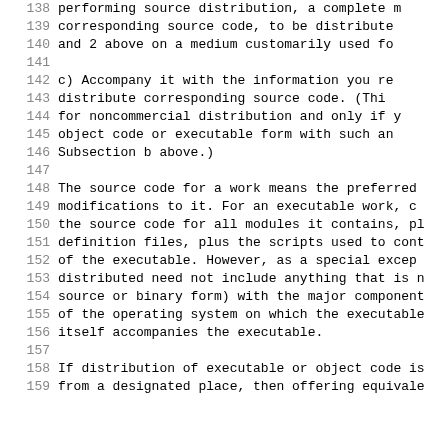138     performing source distribution, a complete m
139         corresponding source code, to be distribute
140         and 2 above on a medium customarily used fo
141
142         c) Accompany it with the information you re
143         distribute corresponding source code.  (Thi
144         for noncommercial distribution and only if y
145         object code or executable form with such an
146         Subsection b above.)
147
148  The source code for a work means the preferred
149  modifications to it.  For an executable work, c
150  the source code for all modules it contains, pl
151  definition files, plus the scripts used to cont
152  of the executable.  However, as a special excep
153  distributed need not include anything that is n
154  source or binary form) with the major component
155  of the operating system on which the executable
156  itself accompanies the executable.
157
158  If distribution of executable or object code is
159  from a designated place, then offering equivale